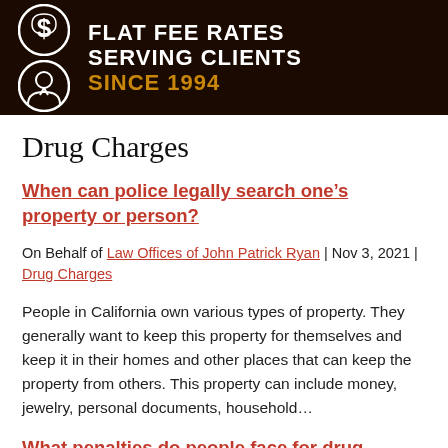FLAT FEE RATES SERVING CLIENTS SINCE 1994
Drug Charges
When can police legally search one’s property or person?
On Behalf of Law Offices of John Patrick Ryan | Nov 3, 2021 | Drug Charges
People in California own various types of property. They generally want to keep this property for themselves and keep it in their homes and other places that can keep the property from others. This property can include money, jewelry, personal documents, household…
What penalties do people face for drug